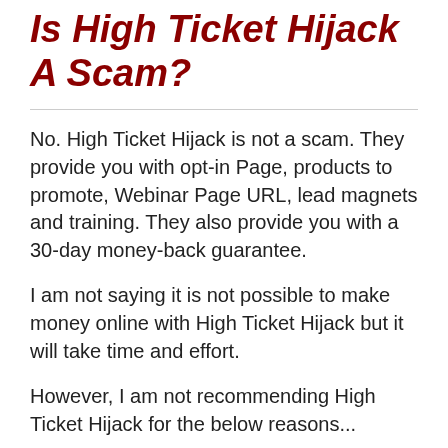Is High Ticket Hijack A Scam?
No. High Ticket Hijack is not a scam. They provide you with opt-in Page, products to promote, Webinar Page URL, lead magnets and training. They also provide you with a 30-day money-back guarantee.
I am not saying it is not possible to make money online with High Ticket Hijack but it will take time and effort.
However, I am not recommending High Ticket Hijack for the below reasons...